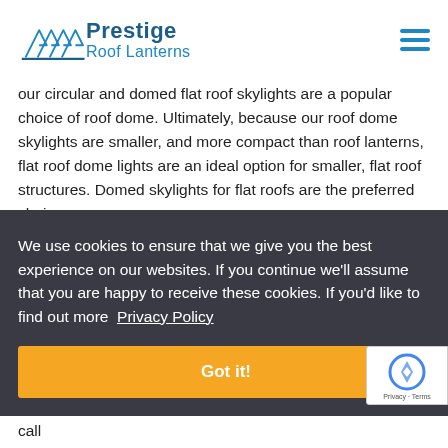Prestige Roof Lanterns
our circular and domed flat roof skylights are a popular choice of roof dome. Ultimately, because our roof dome skylights are smaller, and more compact than roof lanterns, flat roof dome lights are an ideal option for smaller, flat roof structures. Domed skylights for flat roofs are the preferred choice
We use cookies to ensure that we give you the best experience on our websites. If you continue we'll assume that you are happy to receive these cookies. If you'd like to find out more  Privacy Policy
Got it!
dome window, simply fill out our call back request form or call